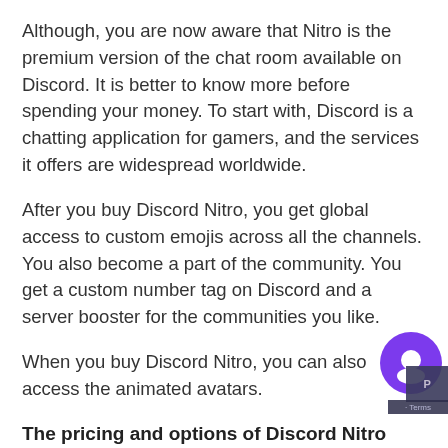Although, you are now aware that Nitro is the premium version of the chat room available on Discord. It is better to know more before spending your money. To start with, Discord is a chatting application for gamers, and the services it offers are widespread worldwide.
After you buy Discord Nitro, you get global access to custom emojis across all the channels. You also become a part of the community. You get a custom number tag on Discord and a server booster for the communities you like.
When you buy Discord Nitro, you can also access the animated avatars.
The pricing and options of Discord Nitro